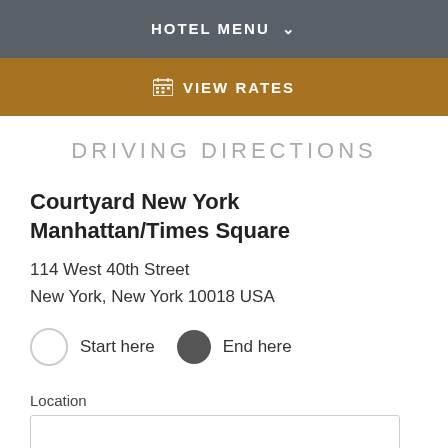HOTEL MENU ∨
VIEW RATES
DRIVING DIRECTIONS
Courtyard New York Manhattan/Times Square
114 West 40th Street
New York, New York 10018 USA
Start here   End here
Location